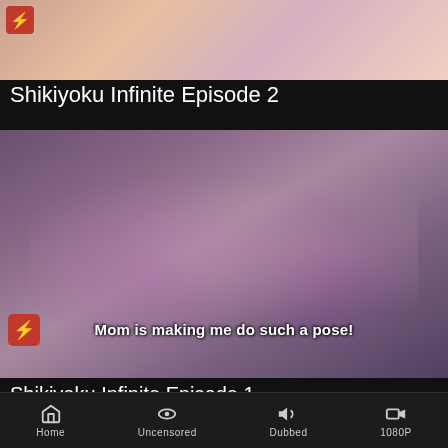[Figure (screenshot): Anime thumbnail — top portion of episode 2 preview, showing animated characters, red bolt badge in top-left corner]
Shikiyoku Infinite Episode 2
[Figure (screenshot): Anime screenshot showing two dark-haired female characters in purple chair/device, with subtitle 'Mom is making me do such a pose!' and red bolt badge in bottom-left]
Shikiyoku Infinite Episode 1
Home   Uncensored   Dubbed   1080P